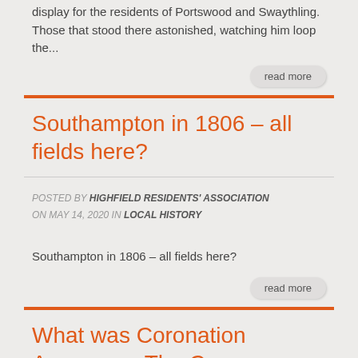display for the residents of Portswood and Swaythling. Those that stood there astonished, watching him loop the...
read more
Southampton in 1806 – all fields here?
POSTED BY HIGHFIELD RESIDENTS' ASSOCIATION ON MAY 14, 2020 IN LOCAL HISTORY
Southampton in 1806 – all fields here?
read more
What was Coronation Avenue on The Common called by this name?